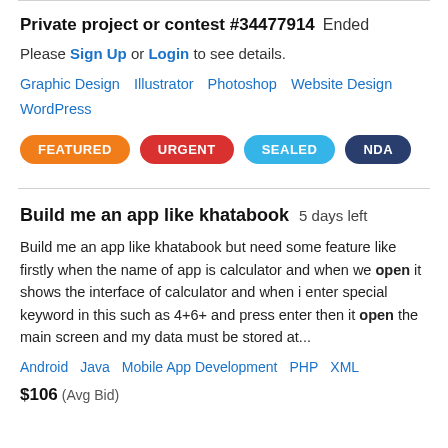Private project or contest #34477914  Ended
Please Sign Up or Login to see details.
Graphic Design   Illustrator   Photoshop   Website Design   WordPress
FEATURED   URGENT   SEALED   NDA
Build me an app like khatabook   5 days left
Build me an app like khatabook but need some feature like firstly when the name of app is calculator and when we open it shows the interface of calculator and when i enter special keyword in this such as 4+6+ and press enter then it open the main screen and my data must be stored at...
Android   Java   Mobile App Development   PHP   XML
$106  (Avg Bid)